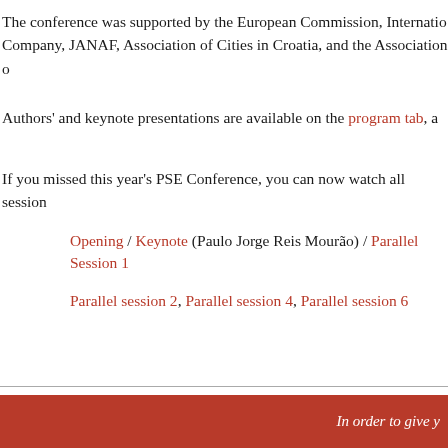The conference was supported by the European Commission, International Company, JANAF, Association of Cities in Croatia, and the Association o
Authors' and keynote presentations are available on the program tab, a
If you missed this year's PSE Conference, you can now watch all session
Opening / Keynote (Paulo Jorge Reis Mourão) / Parallel Session 1
Parallel session 2, Parallel session 4, Parallel session 6
In order to give y